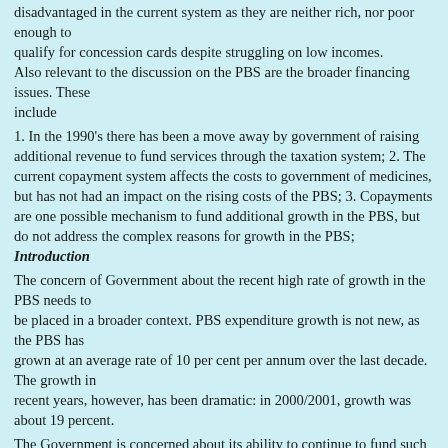disadvantaged in the current system as they are neither rich, nor poor enough to qualify for concession cards despite struggling on low incomes. Also relevant to the discussion on the PBS are the broader financing issues. These include
1. In the 1990's there has been a move away by government of raising additional revenue to fund services through the taxation system; 2. The current copayment system affects the costs to government of medicines, but has not had an impact on the rising costs of the PBS; 3. Copayments are one possible mechanism to fund additional growth in the PBS, but do not address the complex reasons for growth in the PBS;
Introduction
The concern of Government about the recent high rate of growth in the PBS needs to be placed in a broader context. PBS expenditure growth is not new, as the PBS has grown at an average rate of 10 per cent per annum over the last decade. The growth in recent years, however, has been dramatic: in 2000/2001, growth was about 19 percent.
The Government is concerned about its ability to continue to fund such a high growth program. However, it would be flawed policy if the recent high growth justified major policy change that did not take into account the benefits of the PBS. Appropriate prescription and use of medicines is also saving the health budget through assisting people with chronic conditions to stay in the workforce or live independently in the